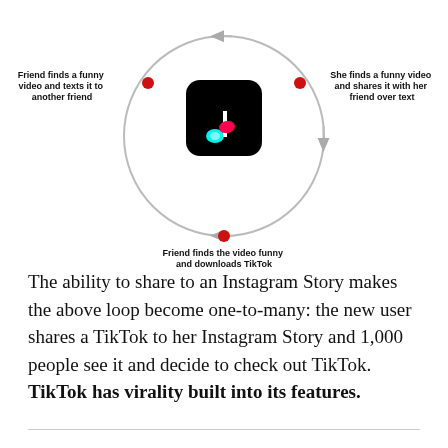[Figure (flowchart): Circular loop diagram showing TikTok virality: three nodes connected by grey arrows forming a cycle. Top-left node: 'Friend finds a funny video and texts it to another friend'. Top-right node: 'She finds a funny video and shares it with her friend over text'. Bottom node: 'Friend finds the video funny and downloads TikTok'. TikTok app icon in the center.]
The ability to share to an Instagram Story makes the above loop become one-to-many: the new user shares a TikTok to her Instagram Story and 1,000 people see it and decide to check out TikTok. TikTok has virality built into its features.